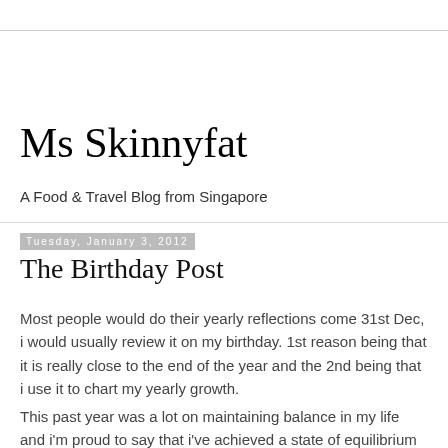Ms Skinnyfat
A Food & Travel Blog from Singapore
Tuesday, January 3, 2012
The Birthday Post
Most people would do their yearly reflections come 31st Dec, i would usually review it on my birthday. 1st reason being that it is really close to the end of the year and the 2nd being that i use it to chart my yearly growth.
This past year was a lot on maintaining balance in my life and i'm proud to say that i've achieved a state of equilibrium